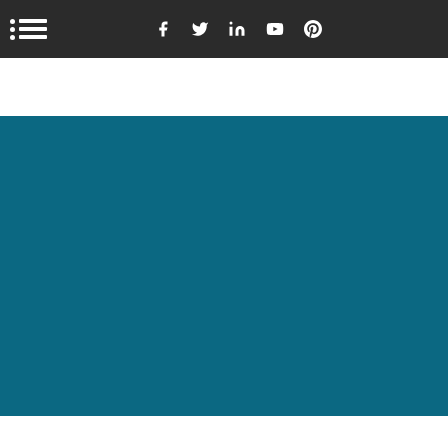Navigation bar with hamburger menu and social media icons (Facebook, Twitter, LinkedIn, YouTube, Pinterest)
[Figure (other): Large teal/dark cyan colored rectangular section filling the middle portion of the page]
[Figure (other): Light gray section at the bottom with a white card/panel element]